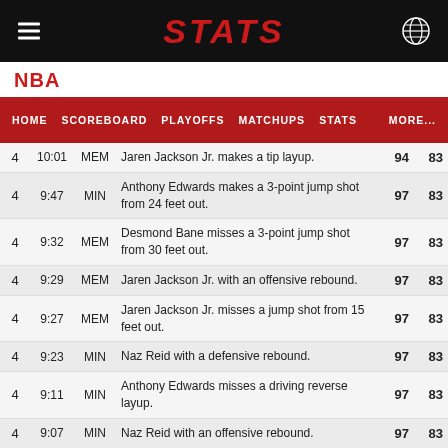STATS
NBA
| QTR | TIME | TEAM | DESCRIPTION |  |  |
| --- | --- | --- | --- | --- | --- |
| 4 | 10:01 | MEM | Jaren Jackson Jr. makes a tip layup. | 94 | 83 |
| 4 | 9:47 | MIN | Anthony Edwards makes a 3-point jump shot from 24 feet out. | 97 | 83 |
| 4 | 9:32 | MEM | Desmond Bane misses a 3-point jump shot from 30 feet out. | 97 | 83 |
| 4 | 9:29 | MEM | Jaren Jackson Jr. with an offensive rebound. | 97 | 83 |
| 4 | 9:27 | MEM | Jaren Jackson Jr. misses a jump shot from 15 feet out. | 97 | 83 |
| 4 | 9:23 | MIN | Naz Reid with a defensive rebound. | 97 | 83 |
| 4 | 9:11 | MIN | Anthony Edwards misses a driving reverse layup. | 97 | 83 |
| 4 | 9:07 | MIN | Naz Reid with an offensive rebound. | 97 | 83 |
| 4 | 9:07 | MIN | Naz Reid misses a tip layup. | 97 | 83 |